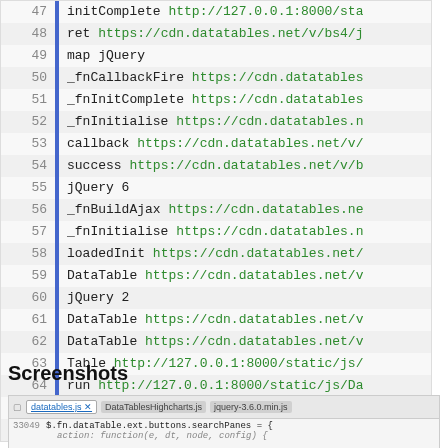[Figure (screenshot): Code/stack trace viewer showing lines 47-66 with line numbers, a blue vertical bar, function names in black and URLs in green]
Screenshots
[Figure (screenshot): Browser developer tools screenshot showing datatables.js, DataTablesHighcharts.js, jquery-3.6.0.min.js tabs with code lines 33049 visible]